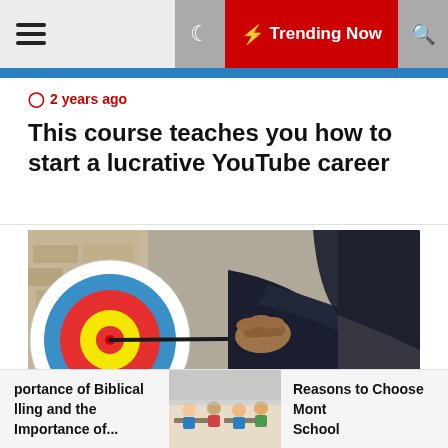☰  🌙  ⚡ Trending Now  🔍
🕐 2 years ago
This course teaches you how to start a lucrative YouTube career
[Figure (photo): Person pulling back a bow aimed at an archery target with red, yellow and blue rings visible]
🕐 2 years ago
When Trading Is Your Career, Consistency Is
portance of Biblical lling and the Importance of... | [image of students] | Reasons to Choose Mont School